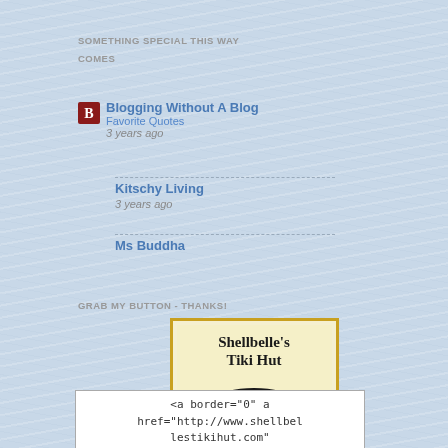SOMETHING SPECIAL THIS WAY COMES
Blogging Without A Blog — Favorite Quotes — 3 years ago
Kitschy Living — 3 years ago
Ms Buddha
GRAB MY BUTTON - THANKS!
[Figure (logo): Shellbelle's Tiki Hut logo with tropical beach scene]
<a border="0" a href="http://www.shellbellestikihut.com"